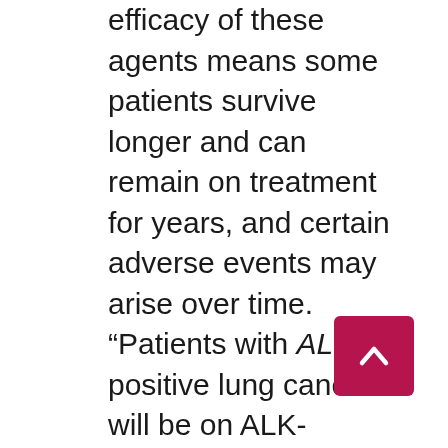efficacy of these agents means some patients survive longer and can remain on treatment for years, and certain adverse events may arise over time. “Patients with ALK-positive lung cancers will be on ALK-directed therapies for a very long time,” noted Dr. Patil, “so chronic toxicities, even if only grade 1 or 2, are important. Clinicians need to think about which therapies to use based on side effect profiles, and this must be individualized for each patient.” Assessment of risk factors and prompt management of treatment-related toxicities are essential for mitigating potential serious adverse events, minimizing costs, and maintaining